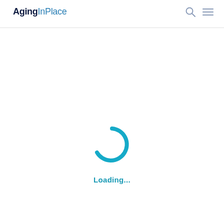AgingInPlace
[Figure (other): Teal/blue circular loading spinner (arc shape, approximately 3/4 of a circle, with a gap at the bottom-right), indicating page content is loading.]
Loading...